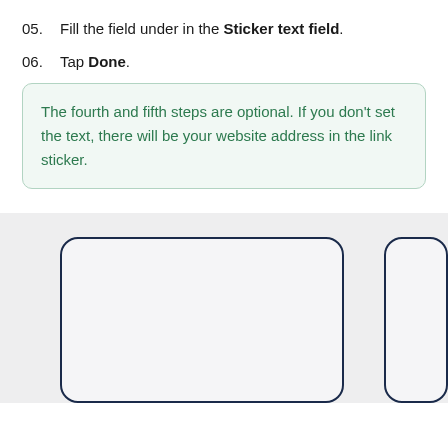05.  Fill the field under in the Sticker text field.
06.  Tap Done.
The fourth and fifth steps are optional. If you don't set the text, there will be your website address in the link sticker.
[Figure (screenshot): Bottom section showing a light gray background with a large rounded-rectangle card outline in dark navy blue on the left and a partial card outline on the right edge.]